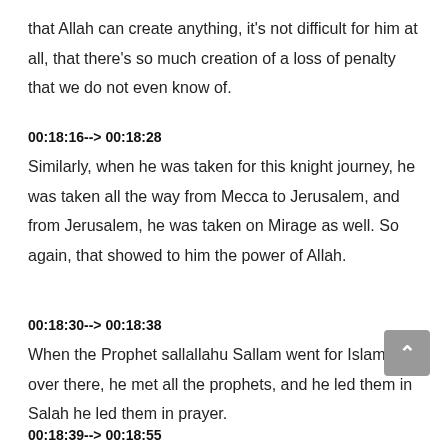that Allah can create anything, it's not difficult for him at all, that there's so much creation of a loss of penalty that we do not even know of.
00:18:16--> 00:18:28
Similarly, when he was taken for this knight journey, he was taken all the way from Mecca to Jerusalem, and from Jerusalem, he was taken on Mirage as well. So again, that showed to him the power of Allah.
00:18:30--> 00:18:38
When the Prophet sallallahu Sallam went for Islam, over there, he met all the prophets, and he led them in Salah he led them in prayer.
00:18:39--> 00:18:55